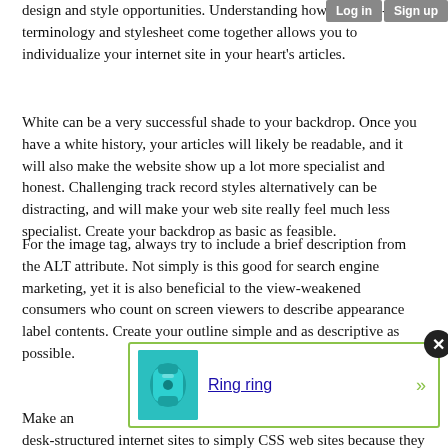design and style opportunities. Understanding how the label-up terminology and stylesheet come together allows you to individualize your internet site in your heart's articles.
White can be a very successful shade to your backdrop. Once you have a white history, your articles will likely be readable, and it will also make the website show up a lot more specialist and honest. Challenging track record styles alternatively can be distracting, and will make your web site really feel much less specialist. Create your backdrop as basic as feasible.
For the image tag, always try to include a brief description from the ALT attribute. Not simply is this good for search engine marketing, yet it is also beneficial to the view-weakened consumers who count on screen viewers to describe appearance label contents. Create your outline simple and as descriptive as possible.
[Figure (screenshot): A popup notification with a teal/cyan rotary telephone image, a link labeled 'Ring ring', a close button (X), and a green arrow (»).]
Make an ... rom desk-structured internet sites to simply CSS web sites because they